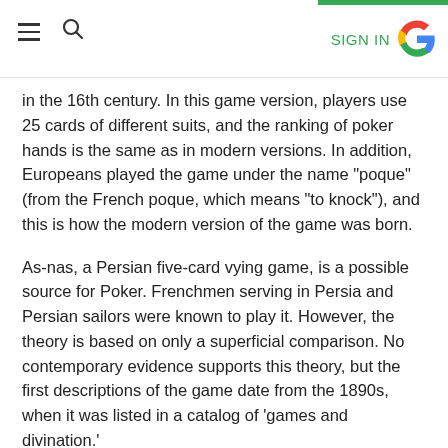SIGN IN
in the 16th century. In this game version, players use 25 cards of different suits, and the ranking of poker hands is the same as in modern versions. In addition, Europeans played the game under the name "poque" (from the French poque, which means "to knock"), and this is how the modern version of the game was born.
As-nas, a Persian five-card vying game, is a possible source for Poker. Frenchmen serving in Persia and Persian sailors were known to play it. However, the theory is based on only a superficial comparison. No contemporary evidence supports this theory, but the first descriptions of the game date from the 1890s, when it was listed in a catalog of 'games and divination.'
Origins in New Orleans
The story of Poker says that it originated in the city of